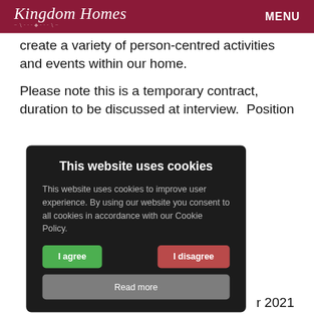Kingdom Homes | MENU
create a variety of person-centred activities and events within our home.
Please note this is a temporary contract, duration to be discussed at interview.  Position
[Figure (screenshot): Cookie consent modal overlay with dark background. Title: 'This website uses cookies'. Body text: 'This website uses cookies to improve user experience. By using our website you consent to all cookies in accordance with our Cookie Policy.' Three buttons: 'I agree' (green), 'I disagree' (red), 'Read more' (grey).]
r 2021